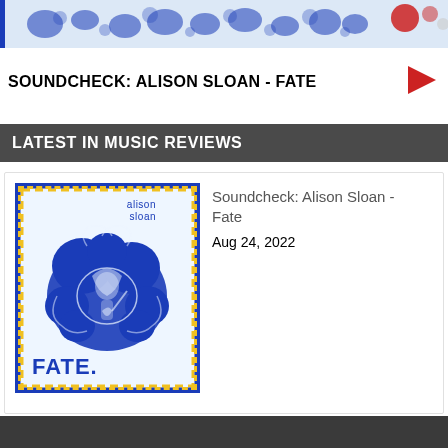[Figure (illustration): Decorative banner artwork with blue ornamental illustration of musician figures on light blue background with blue left border strip]
SOUNDCHECK: ALISON SLOAN - FATE
LATEST IN MUSIC REVIEWS
[Figure (illustration): Album cover for Alison Sloan - Fate. Blue ornamental illustration on light blue background with dashed yellow border and solid blue border. Text 'alison sloan' at top right and 'FATE.' at bottom left.]
Soundcheck: Alison Sloan - Fate
Aug 24, 2022